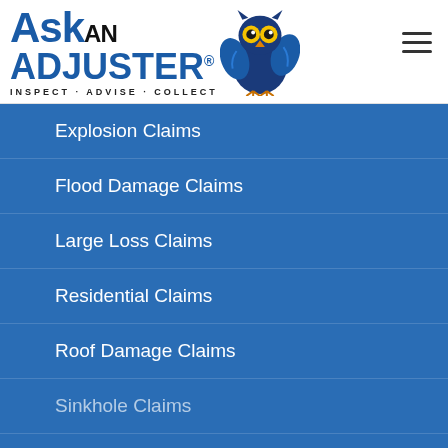[Figure (logo): Ask An Adjuster logo with blue owl mascot and tagline INSPECT · ADVISE · COLLECT]
Explosion Claims
Flood Damage Claims
Large Loss Claims
Residential Claims
Roof Damage Claims
Sinkhole Claims
Theft & Vandalism Claims